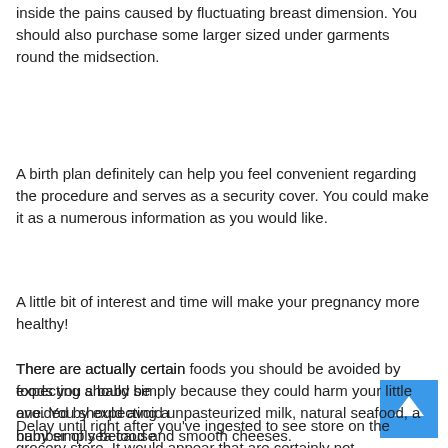inside the pains caused by fluctuating breast dimension. You should also purchase some larger sized under garments round the midsection.
A birth plan definitely can help you feel convenient regarding the procedure and serves as a security cover. You could make it as a numerous information as you would like.
A little bit of interest and time will make your pregnancy more healthy!
There are actually certain foods you should be avoided by expecting a baby simply because they could harm your little one. You should avoid unpasteurized milk, natural seafood, a number of sea food and smooth cheeses.
Delay until right after you've ingested to see store on the grocery store. It would appear that are certainly not